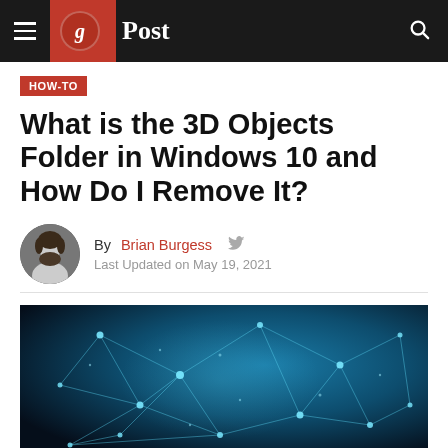g Post
HOW-TO
What is the 3D Objects Folder in Windows 10 and How Do I Remove It?
By Brian Burgess   Last Updated on May 19, 2021
[Figure (photo): Abstract dark blue background with glowing connected network nodes and geometric wire-frame shapes, representing 3D objects and connectivity]